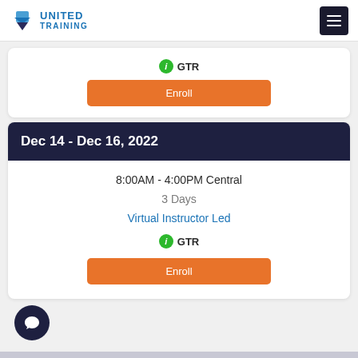United Training
GTR
Enroll
Dec 14 - Dec 16, 2022
8:00AM - 4:00PM Central
3 Days
Virtual Instructor Led
GTR
Enroll